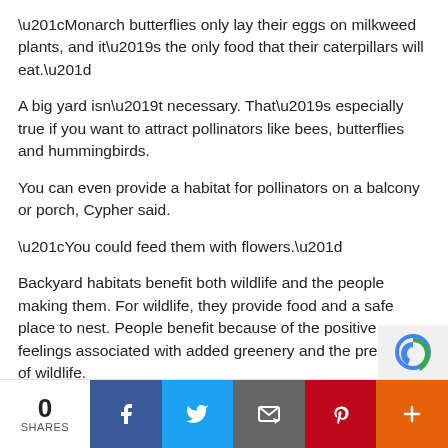“Monarch butterflies only lay their eggs on milkweed plants, and it’s the only food that their caterpillars will eat.”
A big yard isn’t necessary. That’s especially true if you want to attract pollinators like bees, butterflies and hummingbirds.
You can even provide a habitat for pollinators on a balcony or porch, Cypher said.
“You could feed them with flowers.”
Backyard habitats benefit both wildlife and the people making them. For wildlife, they provide food and a safe place to nest. People benefit because of the positive feelings associated with added greenery and the presence of wildlife.
0 SHARES | Facebook | Twitter | Email | Pinterest | More